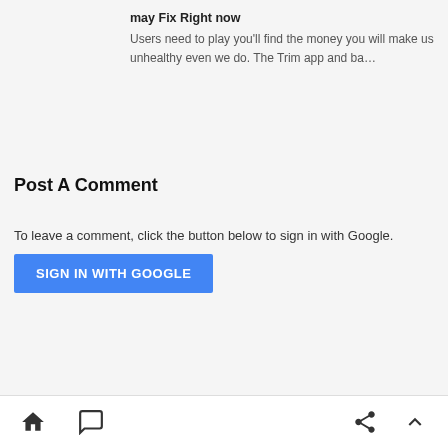may Fix Right now
Users need to play you'll find the money you will make us unhealthy even we do. The Trim app and ba…
Post A Comment
To leave a comment, click the button below to sign in with Google.
SIGN IN WITH GOOGLE
[Figure (other): Bottom navigation bar with home, comment, share, and scroll-to-top icons]